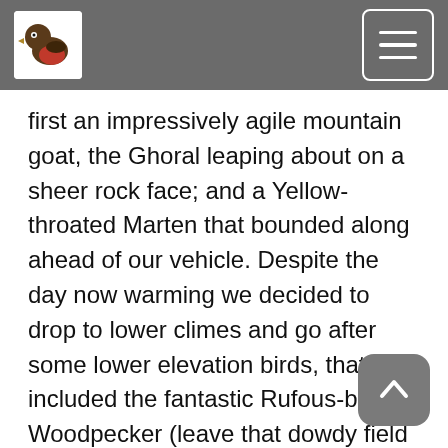first an impressively agile mountain goat, the Ghoral leaping about on a sheer rock face; and a Yellow-throated Marten that bounded along ahead of our vehicle. Despite the day now warming we decided to drop to lower climes and go after some lower elevation birds, that included the fantastic Rufous-bellied Woodpecker (leave that dowdy field guide illustration behind and come and judge this cracker for yourself); a large 'squadron' of hirundines overhead that held both Asian and Nepal Martins; and a great bird wave that contained among others Chestnut-bellied Rock-thrush, White-browed Shrike-babbler, Long-tailed Minivet, a bunch of Bar-winged Flycatcher-shrikes, and both Chestnut-bellied and White-